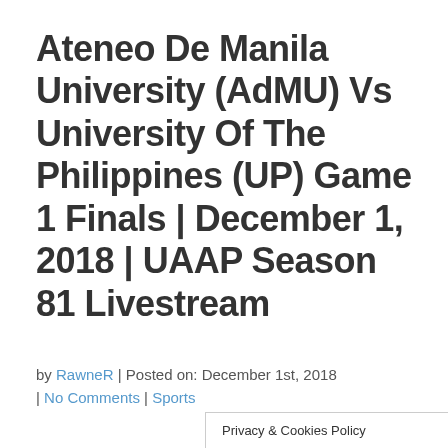Ateneo De Manila University (AdMU) Vs University Of The Philippines (UP) Game 1 Finals | December 1, 2018 | UAAP Season 81 Livestream
by RawneR | Posted on: December 1st, 2018 | No Comments | Sports
Privacy & Cookies Policy